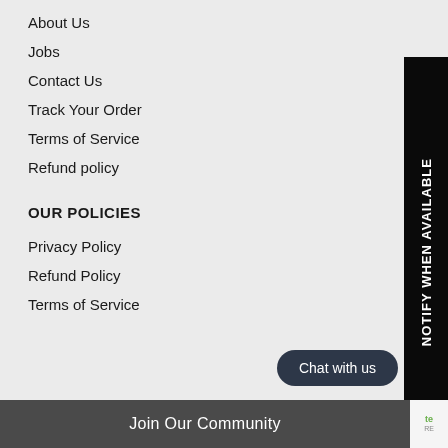About Us
Jobs
Contact Us
Track Your Order
Terms of Service
Refund policy
OUR POLICIES
Privacy Policy
Refund Policy
Terms of Service
NOTIFY WHEN AVAILABLE
Chat with us
Join Our Community